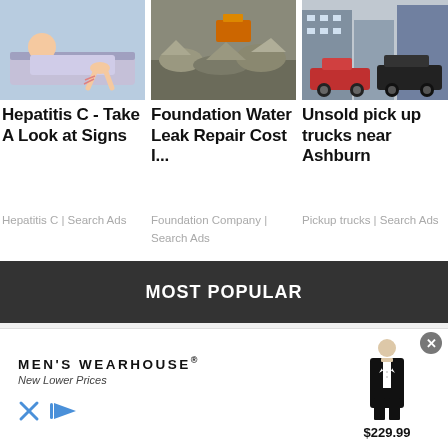[Figure (photo): Illustration of a person lying in bed scratching leg]
[Figure (photo): Photo of foundation construction debris and water damage]
[Figure (photo): Photo of pickup trucks parked on a city street]
Hepatitis C - Take A Look at Signs
Hepatitis C | Search Ads
Foundation Water Leak Repair Cost I...
Foundation Company | Search Ads
Unsold pick up trucks near Ashburn
Pickup trucks | Search Ads
MOST POPULAR
[Figure (screenshot): Advertisement for Men's Wearhouse with suit image and price $229.99]